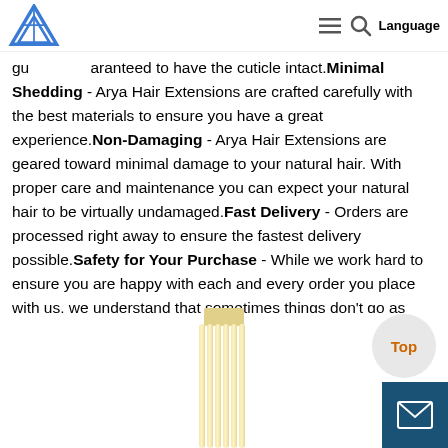Navigation header with logo, menu icon, search icon, and Language button
guaranteed to have the cuticle intact.Minimal Shedding - Arya Hair Extensions are crafted carefully with the best materials to ensure you have a great experience.Non-Damaging - Arya Hair Extensions are geared toward minimal damage to your natural hair. With proper care and maintenance you can expect your natural hair to be virtually undamaged.Fast Delivery - Orders are processed right away to ensure the fastest delivery possible.Safety for Your Purchase - While we work hard to ensure you are happy with each and every order you place with us, we understand that sometimes things don't go as planned. We guarantee everything we sell, and if you're not satisfied with anything you've ordered from us, please feel free to contact us. We will do all we can to make it right, whether it is exchanging your purchase or issuing a refund. Our helpful and friendly staff is here to assist you any time
[Figure (photo): Product photo of blonde hair extensions shown hanging vertically against white background, partially visible at bottom of page]